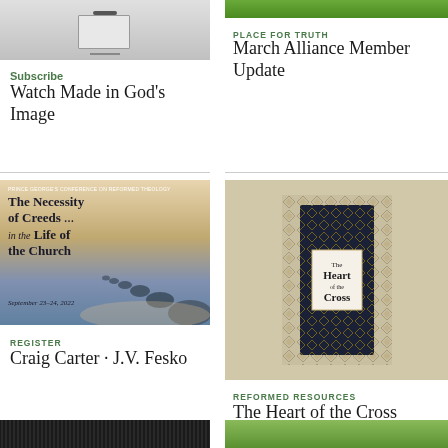[Figure (photo): Clipboard image - gray background thumbnail at top left]
Subscribe
Watch Made in God's Image
[Figure (photo): Green grass/nature image at top right]
PLACE FOR TRUTH
March Alliance Member Update
[Figure (photo): Conference poster: The Necessity of Creeds in the Life of the Church, September 23-24, 2022]
REGISTER
Craig Carter · J.V. Fesko
[Figure (photo): Book cover: The Heart of the Cross]
REFORMED RESOURCES
The Heart of the Cross
[Figure (photo): Dark image strip at bottom left]
[Figure (photo): Green image strip at bottom right]